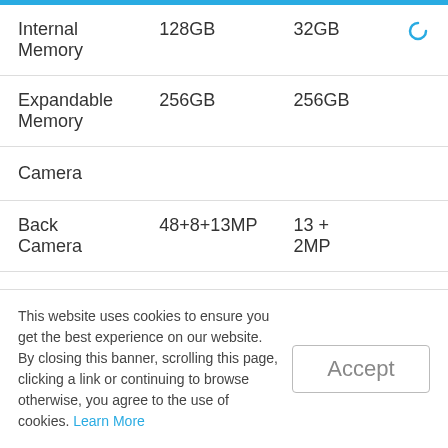|  |  |  |
| --- | --- | --- |
| Internal Memory | 128GB | 32GB |
| Expandable Memory | 256GB | 256GB |
| Camera |  |  |
| Back Camera | 48+8+13MP | 13 + 2MP |
| Front Camera | 16MP | 13MP |
This website uses cookies to ensure you get the best experience on our website. By closing this banner, scrolling this page, clicking a link or continuing to browse otherwise, you agree to the use of cookies. Learn More